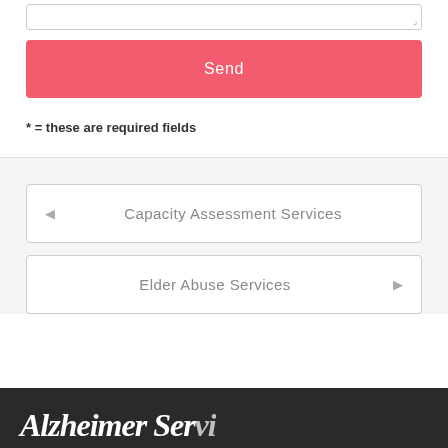[Figure (screenshot): Textarea input field with border, partially visible at top of page]
Send
* = these are required fields
◄  Capacity Assessment Services
Elder Abuse Services  ►
Alzheimer Services (partial, in footer)